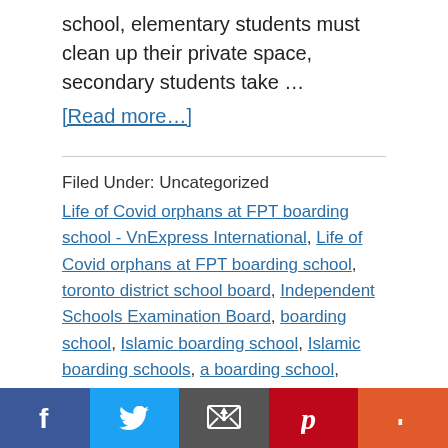school, elementary students must clean up their private space, secondary students take …
[Read more…]
Filed Under: Uncategorized
Life of Covid orphans at FPT boarding school - VnExpress International, Life of Covid orphans at FPT boarding school, toronto district school board, Independent Schools Examination Board, boarding school, Islamic boarding school, Islamic boarding schools, a boarding school, board life, board school, sims 3 boarding school, acting boarding schools, Falcon Manor Boarding School, adhd boarding schools,
[Figure (infographic): Social sharing bar with Facebook, Twitter, Email, Pinterest, and More (+) buttons]